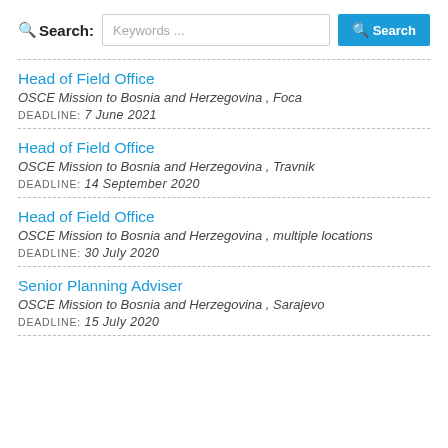Search: Keywords ... [Search button]
Head of Field Office
OSCE Mission to Bosnia and Herzegovina , Foca
DEADLINE: 7 June 2021
Head of Field Office
OSCE Mission to Bosnia and Herzegovina , Travnik
DEADLINE: 14 September 2020
Head of Field Office
OSCE Mission to Bosnia and Herzegovina , multiple locations
DEADLINE: 30 July 2020
Senior Planning Adviser
OSCE Mission to Bosnia and Herzegovina , Sarajevo
DEADLINE: 15 July 2020